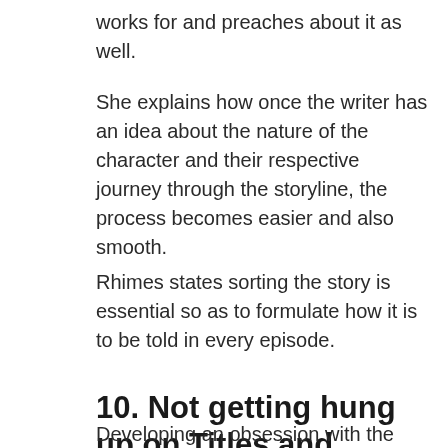works for and preaches about it as well.
She explains how once the writer has an idea about the nature of the character and their respective journey through the storyline, the process becomes easier and also smooth.
Rhimes states sorting the story is essential so as to formulate how it is to be told in every episode.
10. Not getting hung up on Titles and Names:
Developing an obsession with the titles